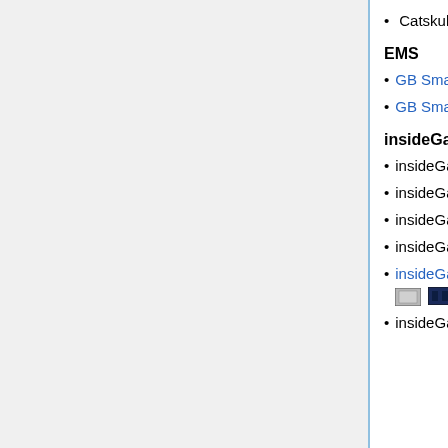Catskull 2MB MBC5 [images]
EMS
GB Smart 16M [image]
GB Smart 32M [images]
insideGadgets
insideGadgets 32KB, 4KB FRAM (superseded by the 512KB, 32KB FRAM cart) [image]
insideGadgets 512KB Logic [image]
insideGadgets 1MB, 128KB SRAM [image]
insideGadgets 1MB, 128KB SRAM Custom Boot Logo [image]
insideGadgets 2MB, 128KB SRAM [images]
insideGadgets 2MB, 32KB FRAM [image]